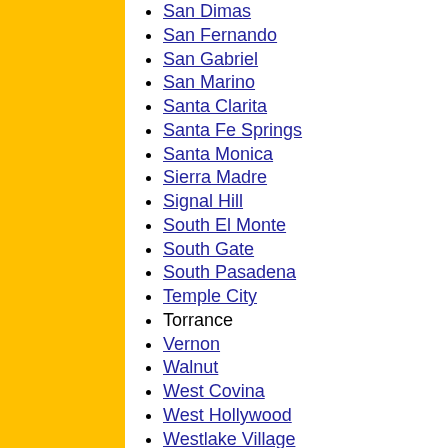San Dimas
San Fernando
San Gabriel
San Marino
Santa Clarita
Santa Fe Springs
Santa Monica
Sierra Madre
Signal Hill
South El Monte
South Gate
South Pasadena
Temple City
Torrance
Vernon
Walnut
West Covina
West Hollywood
Westlake Village
Whittier
Acton
Agua Dulce
Alondra Park
Altadena